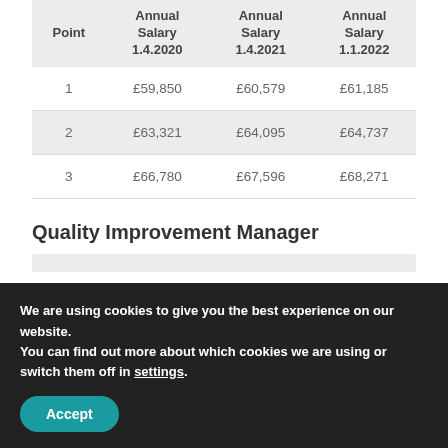| Point | Annual Salary 1.4.2020 | Annual Salary 1.4.2021 | Annual Salary 1.1.2022 |
| --- | --- | --- | --- |
| 1 | £59,850 | £60,579 | £61,185 |
| 2 | £63,321 | £64,095 | £64,737 |
| 3 | £66,780 | £67,596 | £68,271 |
Quality Improvement Manager
We are using cookies to give you the best experience on our website.
You can find out more about which cookies we are using or switch them off in settings.